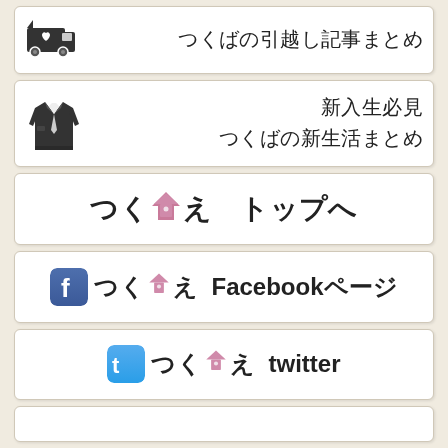[Figure (infographic): Card with moving truck icon and Japanese text: つくばの引越し記事まとめ]
[Figure (infographic): Card with suit/uniform icon and Japanese text: 新入生必見 つくばの新生活まとめ]
[Figure (infographic): Card with つくいえ logo and Japanese text: トップへ]
[Figure (infographic): Card with Facebook icon, つくいえ logo and text: Facebookページ]
[Figure (infographic): Card with Twitter icon, つくいえ logo and text: twitter]
[Figure (infographic): Partial card at bottom, content cut off]